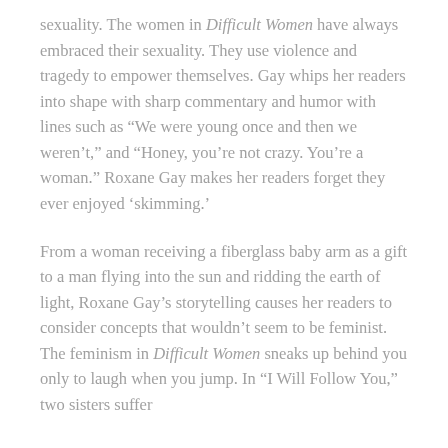sexuality. The women in Difficult Women have always embraced their sexuality. They use violence and tragedy to empower themselves. Gay whips her readers into shape with sharp commentary and humor with lines such as “We were young once and then we weren’t,” and “Honey, you’re not crazy. You’re a woman.” Roxane Gay makes her readers forget they ever enjoyed ‘skimming.’
From a woman receiving a fiberglass baby arm as a gift to a man flying into the sun and ridding the earth of light, Roxane Gay’s storytelling causes her readers to consider concepts that wouldn’t seem to be feminist. The feminism in Difficult Women sneaks up behind you only to laugh when you jump. In “I Will Follow You,” two sisters suffer